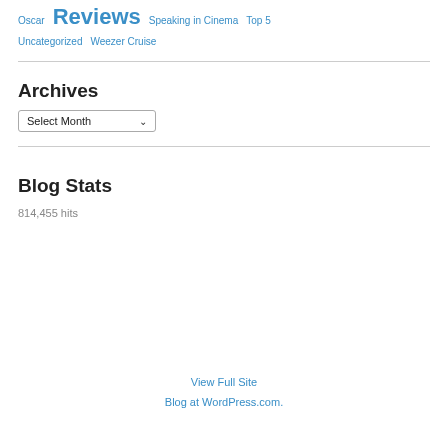Oscar   Reviews   Speaking in Cinema   Top 5
Uncategorized   Weezer Cruise
Archives
Select Month (dropdown)
Blog Stats
814,455 hits
View Full Site
Blog at WordPress.com.